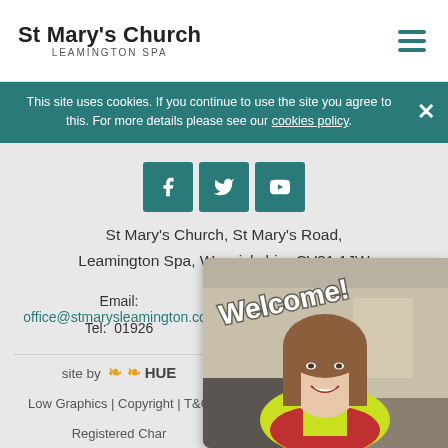St Mary's Church LEAMINGTON SPA
This site uses cookies. If you continue to use the site you agree to this. For more details please see our cookies policy.
[Figure (illustration): Social media icons: Facebook, Twitter, YouTube on teal square backgrounds]
St Mary's Church, St Mary's Road, Leamington Spa, Warwickshire CV31 1JW
Email: office@stmarysleamington.com
Tel: 01926
site by HUE
Low Graphics | Copyright | T&C
Registered Char
[Figure (photo): Woman smiling at camera wearing hi-vis vest and clerical collar, with 'Welcome!' handwritten text overlay, outdoor street background]